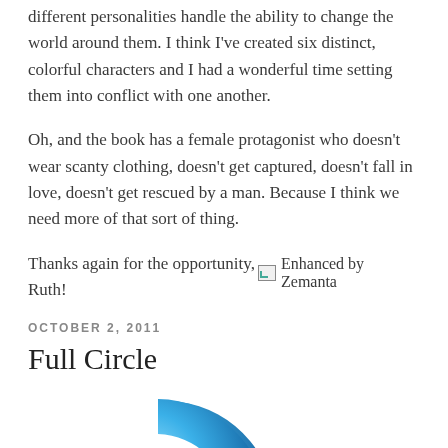different personalities handle the ability to change the world around them. I think I've created six distinct, colorful characters and I had a wonderful time setting them into conflict with one another.
Oh, and the book has a female protagonist who doesn't wear scanty clothing, doesn't get captured, doesn't fall in love, doesn't get rescued by a man. Because I think we need more of that sort of thing.
Thanks again for the opportunity, Ruth!
[Figure (logo): Enhanced by Zemanta - broken image icon with text]
OCTOBER 2, 2011
Full Circle
[Figure (illustration): Blue circular arrow/refresh icon, partially cropped at bottom of page]